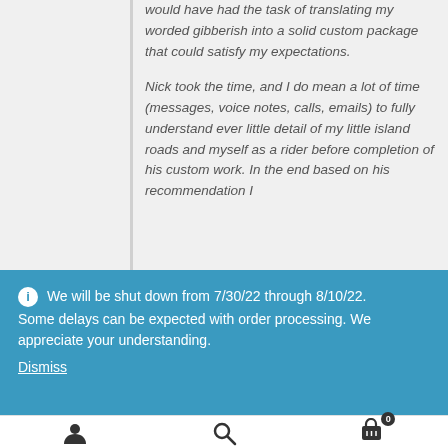would have had the task of translating my worded gibberish into a solid custom package that could satisfy my expectations.

Nick took the time, and I do mean a lot of time (messages, voice notes, calls, emails) to fully understand ever little detail of my little island roads and myself as a rider before completion of his custom work. In the end based on his recommendation I
We will be shut down from 7/30/22 through 8/10/22. Some delays can be expected with order processing. We appreciate your understanding. Dismiss